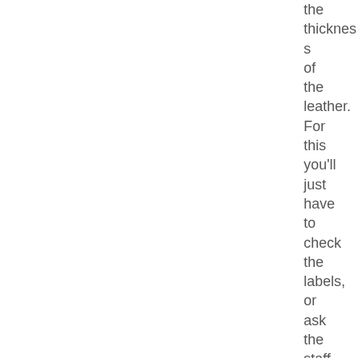the thickness of the leather. For this you'll just have to check the labels, or ask the staff. The leather should be at LEAST